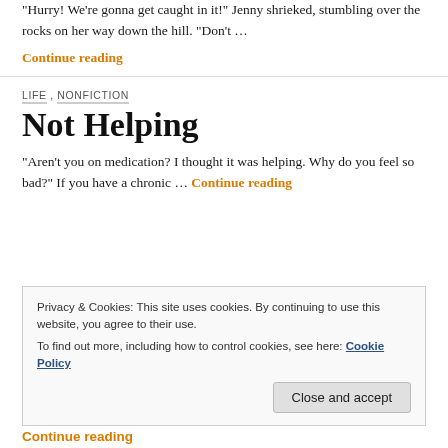“Hurry! We’re gonna get caught in it!” Jenny shrieked, stumbling over the rocks on her way down the hill. “Don’t …
Continue reading
LIFE ,  NONFICTION
Not Helping
“Aren’t you on medication? I thought it was helping. Why do you feel so bad?” If you have a chronic … Continue reading
Privacy & Cookies: This site uses cookies. By continuing to use this website, you agree to their use.
To find out more, including how to control cookies, see here: Cookie Policy
Close and accept
Continue reading